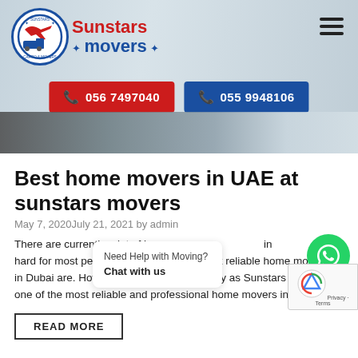[Figure (screenshot): Sunstars Movers website header with logo, hamburger menu, two phone number buttons (056 7497040 in red, 055 9948106 in blue), and a hero banner image of movers with boxes]
Best home movers in UAE at sunstars movers
May 7, 2020July 21, 2021 by admin
There are currently a lot of ho ... in hard for most people to figure who the most reliable home movers in Dubai are. However, you should not worry as Sunstars M... one of the most reliable and professional home movers in D...
READ MORE